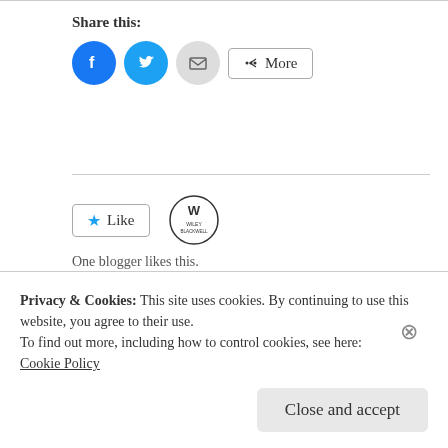Share this:
[Figure (infographic): Share buttons: Facebook (blue circle), Twitter (light blue circle), Email (grey circle), and More button with share icon]
[Figure (infographic): Like button with star icon and Wiley-Blackwell logo beside it]
One blogger likes this.
Lisa Evans / May 28, 2012 / Event, Journal Club,
Privacy & Cookies: This site uses cookies. By continuing to use this website, you agree to their use.
To find out more, including how to control cookies, see here:
Cookie Policy
Close and accept